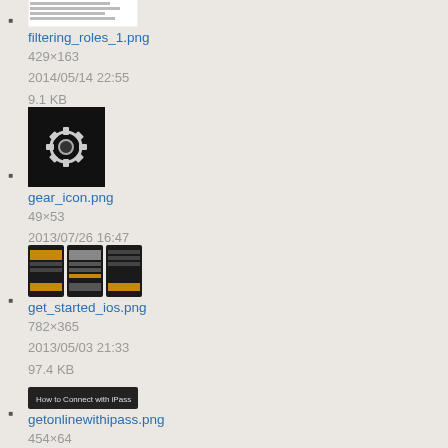filtering_roles_1.png
429×163
2014/05/14 22:55
9.1 KB
gear_icon.png
49×53
2013/07/26 16:47
3 KB
get_started_ios.png
782×365
2013/05/03 21:33
97.4 KB
getonlinewithipass.png
454×64